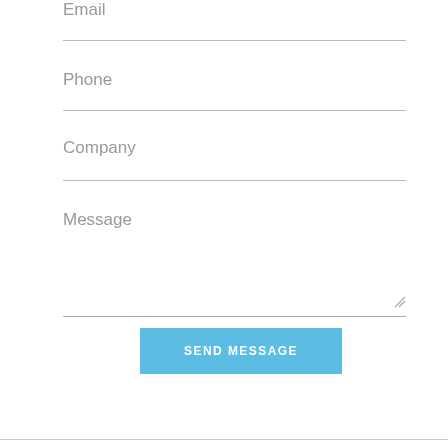Email
Phone
Company
Message
SEND MESSAGE